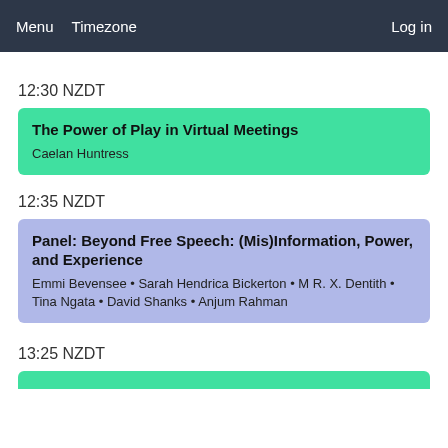Menu  Timezone  Log in
12:30 NZDT
The Power of Play in Virtual Meetings
Caelan Huntress
12:35 NZDT
Panel: Beyond Free Speech: (Mis)Information, Power, and Experience
Emmi Bevensee • Sarah Hendrica Bickerton • M R. X. Dentith • Tina Ngata • David Shanks • Anjum Rahman
13:25 NZDT